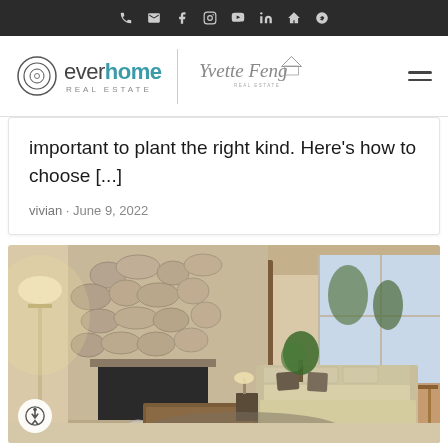everhome REAL ESTATE | Yvette Feng REAL ESTATE — navigation bar with icons: phone, email, facebook, instagram, youtube, linkedin, zillow, yelp
important to plant the right kind. Here's how to choose [...]
vivian · June 9, 2022
[Figure (photo): Interior living room photo showing a stone fireplace with river-rock surround, floor lamp, beige sofa with dark throw pillows, wooden coffee table, sliding glass door to a deck, and trees outside. An accessibility button is visible in the lower left corner.]